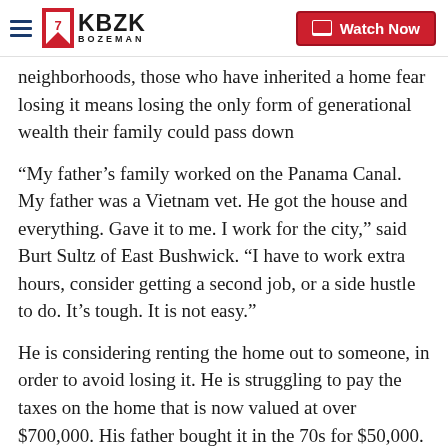KBZK BOZEMAN — Watch Now
neighborhoods, those who have inherited a home fear losing it means losing the only form of generational wealth their family could pass down
“My father’s family worked on the Panama Canal. My father was a Vietnam vet. He got the house and everything. Gave it to me. I work for the city,” said Burt Sultz of East Bushwick. “I have to work extra hours, consider getting a second job, or a side hustle to do. It’s tough. It is not easy.”
He is considering renting the home out to someone, in order to avoid losing it. He is struggling to pay the taxes on the home that is now valued at over $700,000. His father bought it in the 70s for $50,000.